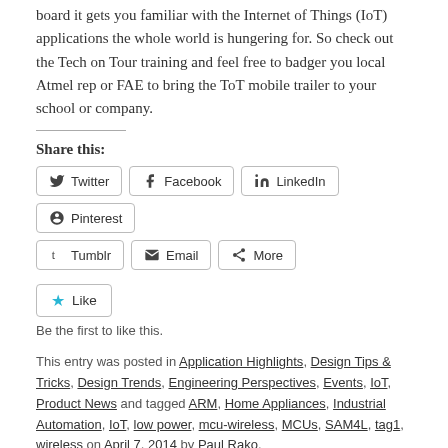board it gets you familiar with the Internet of Things (IoT) applications the whole world is hungering for. So check out the Tech on Tour training and feel free to badger you local Atmel rep or FAE to bring the ToT mobile trailer to your school or company.
Share this:
Twitter | Facebook | LinkedIn | Pinterest | Tumblr | Email | More
Like - Be the first to like this.
This entry was posted in Application Highlights, Design Tips & Tricks, Design Trends, Engineering Perspectives, Events, IoT, Product News and tagged ARM, Home Appliances, Industrial Automation, IoT, low power, mcu-wireless, MCUs, SAM4L, tag1, wireless on April 7, 2014 by Paul Rako.